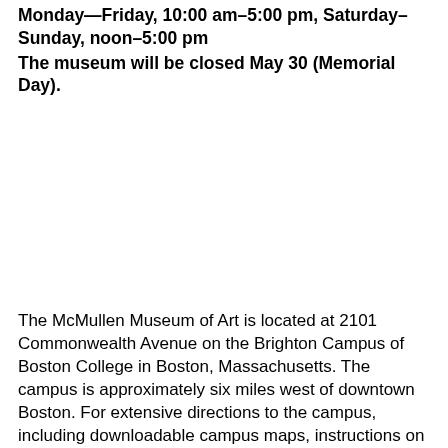Monday—Friday, 10:00 am–5:00 pm, Saturday–Sunday, noon–5:00 pm
The museum will be closed May 30 (Memorial Day).
The McMullen Museum of Art is located at 2101 Commonwealth Avenue on the Brighton Campus of Boston College in Boston, Massachusetts. The campus is approximately six miles west of downtown Boston. For extensive directions to the campus, including downloadable campus maps, instructions on using GPS and Google, and